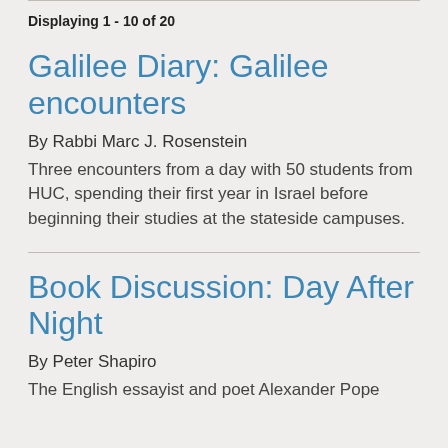Displaying 1 - 10 of 20
Galilee Diary: Galilee encounters
By Rabbi Marc J. Rosenstein
Three encounters from a day with 50 students from HUC, spending their first year in Israel before beginning their studies at the stateside campuses.
Book Discussion: Day After Night
By Peter Shapiro
The English essayist and poet Alexander Pope